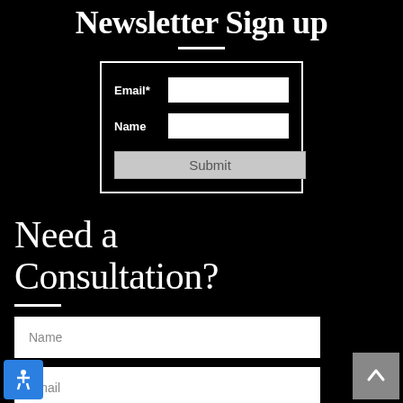Newsletter Sign up
[Figure (screenshot): Newsletter sign-up form box with Email and Name input fields and a Submit button, on black background]
Need a Consultation?
[Figure (screenshot): Consultation form with Name and Email input fields on black background]
[Figure (other): Accessibility icon button (blue) and back-to-top arrow button (gray)]